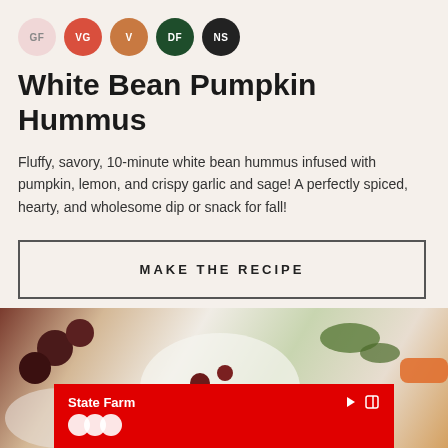[Figure (infographic): Five circular badges in a row: GF (light pink), VG (red), V (brown/orange), DF (dark green), NS (black)]
White Bean Pumpkin Hummus
Fluffy, savory, 10-minute white bean hummus infused with pumpkin, lemon, and crispy garlic and sage! A perfectly spiced, hearty, and wholesome dip or snack for fall!
MAKE THE RECIPE
[Figure (photo): Food photography showing bowls of food (hummus/vegetables) from above, with a State Farm advertisement banner overlaid at the bottom]